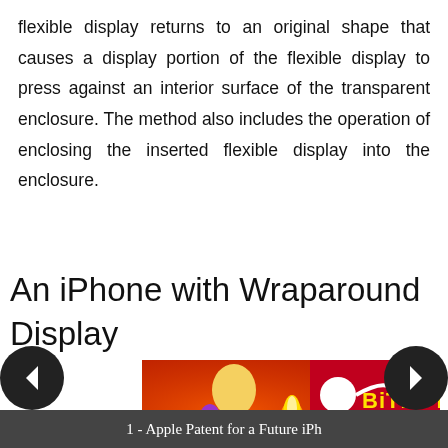flexible display returns to an original shape that causes a display portion of the flexible display to press against an interior surface of the transparent enclosure. The method also includes the operation of enclosing the inserted flexible display into the enclosure.
An iPhone with Wraparound Display
[Figure (screenshot): Advertisement banner for BitLife game showing FAIL label, animated character, flame graphic, and 'START A NEW LIFE' text on red background]
1 - Apple Patent for a Future iPh